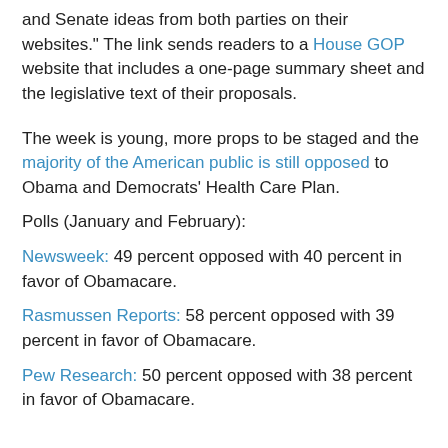and Senate ideas from both parties on their websites." The link sends readers to a House GOP website that includes a one-page summary sheet and the legislative text of their proposals.
The week is young, more props to be staged and the majority of the American public is still opposed to Obama and Democrats' Health Care Plan.
Polls (January and February):
Newsweek: 49 percent opposed with 40 percent in favor of Obamacare.
Rasmussen Reports: 58 percent opposed with 39 percent in favor of Obamacare.
Pew Research: 50 percent opposed with 38 percent in favor of Obamacare.